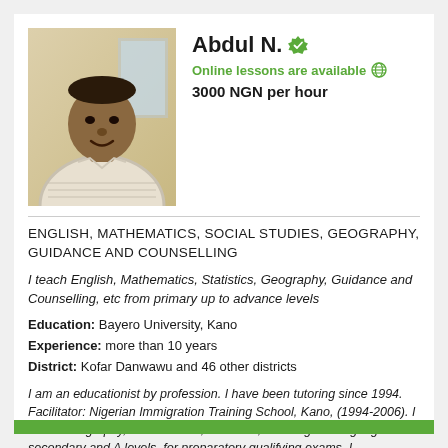[Figure (photo): Profile photo of Abdul N., a man in a striped shirt seated indoors]
Abdul N.
Online lessons are available
3000 NGN per hour
ENGLISH, MATHEMATICS, SOCIAL STUDIES, GEOGRAPHY, GUIDANCE AND COUNSELLING
I teach English, Mathematics, Statistics, Geography, Guidance and Counselling, etc from primary up to advance levels
Education: Bayero University, Kano
Experience: more than 10 years
District: Kofar Danwawu and 46 other districts
I am an educationist by profession. I have been tutoring since 1994. Facilitator: Nigerian Immigration Training School, Kano, (1994-2006). I teach Geography, Mathematics, Statistics, and English language for secondary and A levels, for preparatory qualifying exams. I accommodate students at all lev...